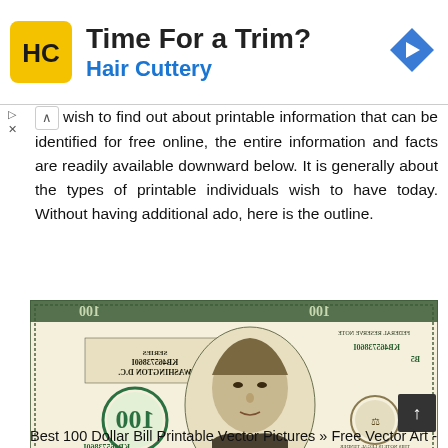[Figure (logo): Hair Cuttery advertisement banner with HC logo in yellow square, title 'Time For a Trim?', subtitle 'Hair Cuttery' in blue, and a blue diamond navigation icon on the right]
wish to find out about printable information that can be identified for free online, the entire information and facts are readily available downward below. It is generally about the types of printable individuals wish to have today. Without having additional ado, here is the outline.
[Figure (illustration): A mirrored/flipped $100 US dollar bill showing Benjamin Franklin portrait, serial number KB46573860I, and various bill markings shown in reverse/mirror image]
Best 100 Dollar Bill Printable Vector Pictures » Free Vector Art -